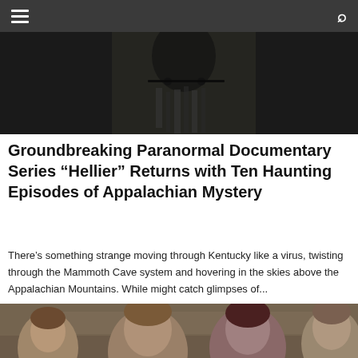Navigation bar with hamburger menu and search icon
[Figure (photo): Dark atmospheric photo showing a person wearing a black jacket with decorative elements, partially visible, set against a dark background]
Groundbreaking Paranormal Documentary Series “Hellier” Returns with Ten Haunting Episodes of Appalachian Mystery
There’s something strange moving through Kentucky like a virus, twisting through the Mammoth Cave system and hovering in the skies above the Appalachian Mountains. While might catch glimpses of...
[Figure (photo): Sepia-toned promotional photo showing four people (two women and two men) against a background of an old building or institution, appearing to be a TV show cast photo]